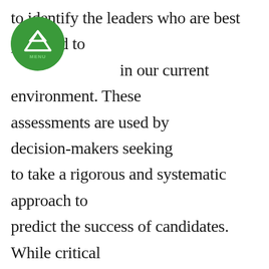[Figure (logo): Green circular logo with white mountain/peak icon and 'MENU' text below]
to identify the leaders who are best prepared to lead in our current environment. These assessments are used by decision-makers seeking to take a rigorous and systematic approach to predict the success of candidates. While critical incident, behavioral and chronological interviews have been around for a long time.  These assessments should be combined with psychometric tools such as personality, critical thinking, and decision making.  When you add in 360 stakeholder feedback, your decision-making success odds have increased significantly.  These